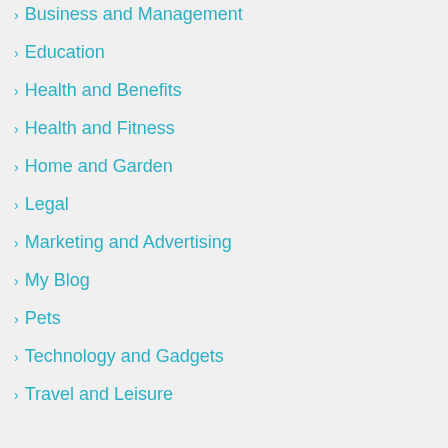Business and Management
Education
Health and Benefits
Health and Fitness
Home and Garden
Legal
Marketing and Advertising
My Blog
Pets
Technology and Gadgets
Travel and Leisure
[Figure (logo): Facebook social icon button (blue circle with white F)]
[Figure (logo): Google+ social icon button (red circle with white G+)]
ARCHIVES
[Figure (logo): Twitter social icon button (blue circle with white bird)]
[Figure (logo): Add/plus social icon button (dark blue circle with white plus)]
August 2022
July 2022
June 2022
May 2022
April 2022